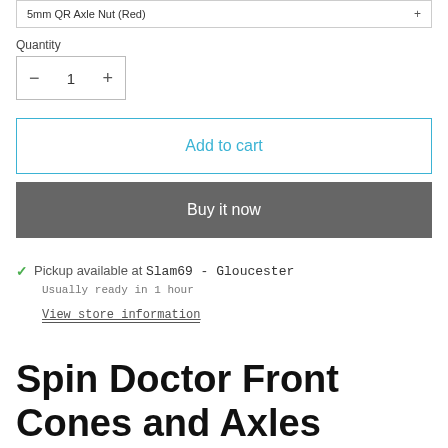5mm QR Axle Nut (Red)
Quantity
1
Add to cart
Buy it now
✓ Pickup available at Slam69 - Gloucester
Usually ready in 1 hour
View store information
Spin Doctor Front Cones and Axles